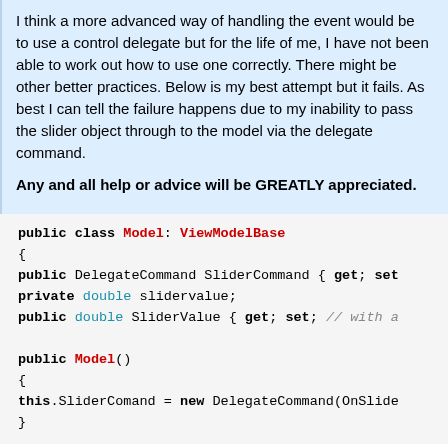I think a more advanced way of handling the event would be to use a control delegate but for the life of me, I have not been able to work out how to use one correctly. There might be other better practices. Below is my best attempt but it fails. As best I can tell the failure happens due to my inability to pass the slider object through to the model via the delegate command.

Any and all help or advice will be GREATLY appreciated.
public class Model: ViewModelBase
{
public DelegateCommand SliderCommand { get; set
private double slidervalue;
public double SliderValue { get; set; // with a

public Model()
{
this.SliderComand = new DelegateCommand(OnSlide
}